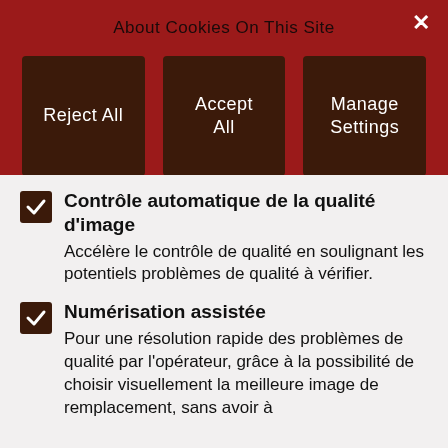About Cookies On This Site
Reject All
Accept All
Manage Settings
Contrôle automatique de la qualité d'image
Accélère le contrôle de qualité en soulignant les potentiels problèmes de qualité à vérifier.
Numérisation assistée
Pour une résolution rapide des problèmes de qualité par l'opérateur, grâce à la possibilité de choisir visuellement la meilleure image de remplacement, sans avoir à